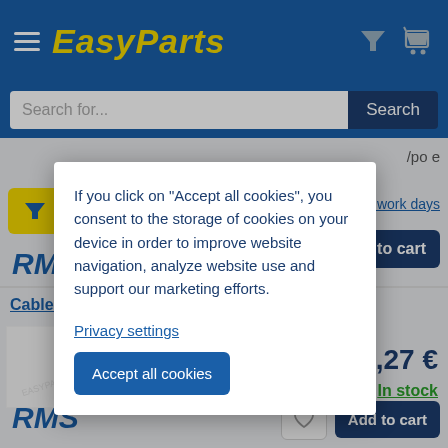EasyParts
Search for...
Search
Filter
10 work days
Add to cart
[Figure (logo): RMS brand logo]
Cable Nipple
[Figure (photo): Cable nipple part image with EasyParts watermark]
1,27 €
In stock
[Figure (logo): RMS brand logo bottom]
Add to cart
If you click on "Accept all cookies", you consent to the storage of cookies on your device in order to improve website navigation, analyze website use and support our marketing efforts.
Privacy settings
Accept all cookies